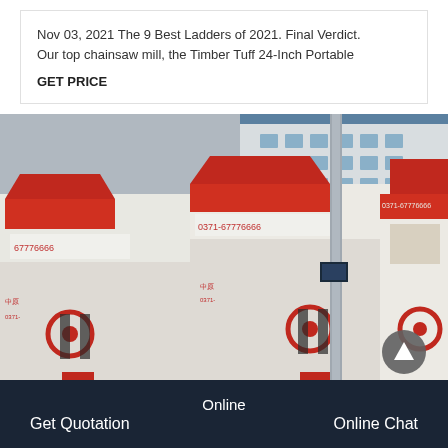Nov 03, 2021 The 9 Best Ladders of 2021. Final Verdict. Our top chainsaw mill, the Timber Tuff 24-Inch Portable
GET PRICE
[Figure (photo): Industrial hammer mill / crusher machines in white and red color, showing multiple units outdoors with phone number 0371-67776666 visible on the machines]
Online   Get Quotation   Online Chat